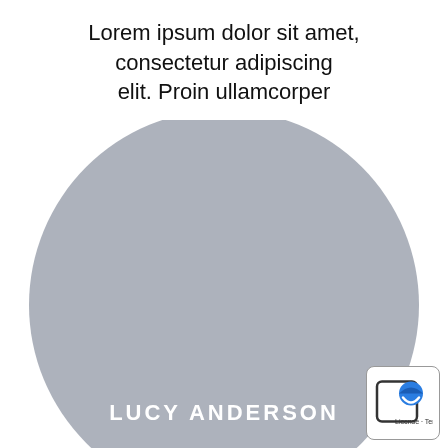Lorem ipsum dolor sit amet, consectetur adipiscing elit. Proin ullamcorper
[Figure (photo): Large circular gray placeholder profile image with the name LUCY ANDERSON overlaid at the bottom. A small watermark/logo icon appears in the bottom-right corner.]